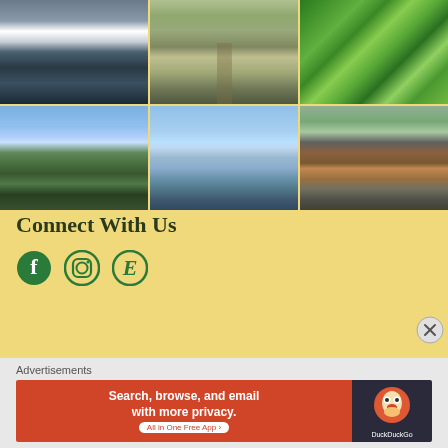[Figure (photo): 3x2 grid of travel/nature photographs: mountain with snow and lake, winding road through green hills, green tree canopy, hillside with trees, aerial city/valley view, decorative statue outdoors]
Connect With Us
[Figure (illustration): Social media icons: Facebook (green circle with f), Instagram (green circle with camera), Etsy (green serif E)]
Advertisements
[Figure (screenshot): DuckDuckGo advertisement banner: orange-red background with text 'Search, browse, and email with more privacy. All in One Free App' and DuckDuckGo logo on dark background]